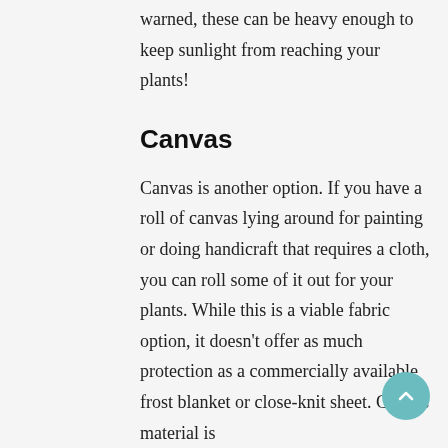warned, these can be heavy enough to keep sunlight from reaching your plants!
Canvas
Canvas is another option. If you have a roll of canvas lying around for painting or doing handicraft that requires a cloth, you can roll some of it out for your plants. While this is a viable fabric option, it doesn't offer as much protection as a commercially available frost blanket or close-knit sheet. Canvas material is